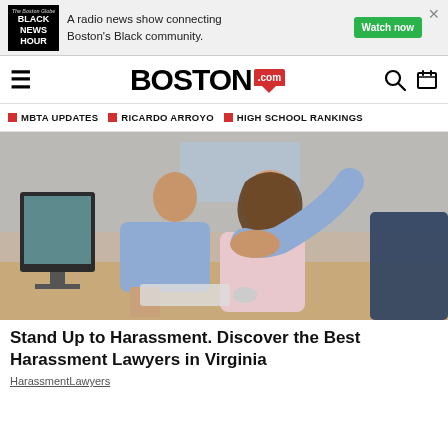[Figure (infographic): Advertisement banner for Black News Hour radio show. Shows logo with text 'BLACK NEWS HOUR', tagline 'A radio news show connecting Boston's Black community.' with a green 'Watch now' button.]
BOSTON.com
MBTA UPDATES
RICARDO ARROYO
HIGH SCHOOL RANKINGS
[Figure (photo): Office workplace harassment scene showing a man leaning over a woman seated at a computer desk, placing his hand on her shoulder while she looks uncomfortable.]
Stand Up to Harassment. Discover the Best Harassment Lawyers in Virginia
HarassmentLawyers